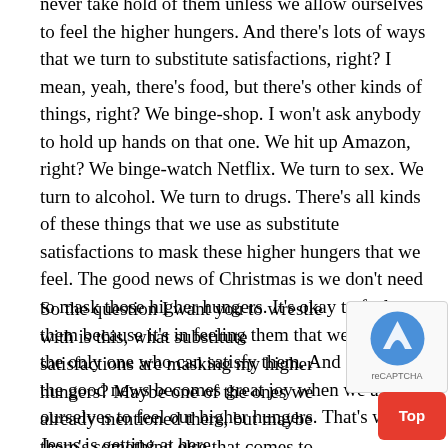never take hold of them unless we allow ourselves to feel the higher hungers. And there's lots of ways that we turn to substitute satisfactions, right? I mean, yeah, there's food, but there's other kinds of things, right? We binge-shop. I won't ask anybody to hold up hands on that one. We hit up Amazon, right? We binge-watch Netflix. We turn to sex. We turn to alcohol. We turn to drugs. There's all kinds of these things that we use as substitute satisfactions to mask these higher hungers that we feel. The good news of Christmas is we don't need to mask those higher hungers. It's okay to feel them because it's in feeling them that we'll turn to the only one who can satisfy them. And so really the good news becomes great joy when we allow ourselves to feel our higher hungers. That's what Jesus is getting at here.
So the question I want you to wrestle with is this, what substitute satisfactions are masking my higher hungers? Maybe one of the ones we already mentioned there, but maybe there's something else that comes to mind, you're like, "You know, I'm using that to mask this hunger for something that's…it's not gonna be met by anything in this world or anything and in my relationships with other human beings." That hunger is actually a gift.